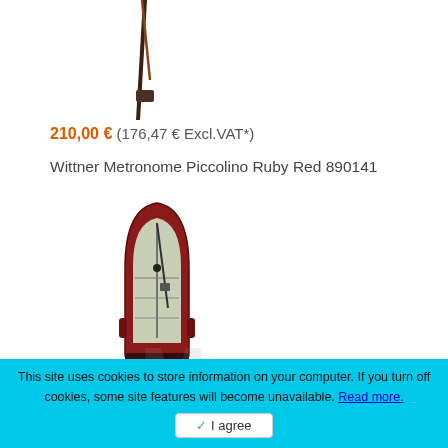[Figure (photo): Partial view of a metronome or instrument, cropped at top of page]
210,00 € (176,47 € Excl.VAT*)
Wittner Metronome Piccolino Ruby Red 890141
[Figure (photo): Wittner Metronome Piccolino Ruby Red 890141 - small dark red metronome]
44,80 € (37,65 € Excl.VAT*)
Availability: Ships within 1-2 weeks
[Figure (logo): Riboni logo with stylized M watermark in background and bold serif RIBONI text]
This site uses cookies to store information on your computer. If you turn off cookies, some site features will become unavailable. Read more.
I agree